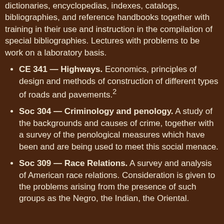dictionaries, encyclopedias, indexes, catalogs, bibliographies, and reference handbooks together with training in their use and instruction in the compilation of special bibliographies. Lectures with problems to be work on a laboratory basis.
CE 341 — Highways. Economics, principles of design and methods of construction of different types of roads and pavements.²
Soc 304 — Criminology and penology. A study of the backgrounds and causes of crime, together with a survey of the penological measures which have been and are being used to meet this social menace.
Soc 309 — Race Relations. A survey and analysis of American race relations. Consideration is given to the problems arising from the presence of such groups as the Negro, the Indian, the Oriental.